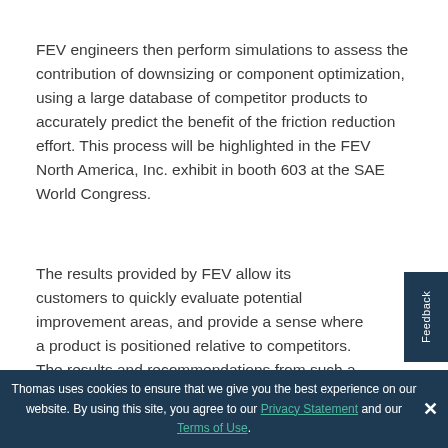FEV engineers then perform simulations to assess the contribution of downsizing or component optimization, using a large database of competitor products to accurately predict the benefit of the friction reduction effort. This process will be highlighted in the FEV North America, Inc. exhibit in booth 603 at the SAE World Congress.
The results provided by FEV allow its customers to quickly evaluate potential improvement areas, and provide a sense where a product is positioned relative to competitors. The results and recommendations from such a program allow a
Thomas uses cookies to ensure that we give you the best experience on our website. By using this site, you agree to our Privacy Statement and our Terms of Use.